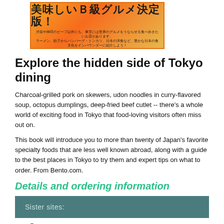[Figure (illustration): Japanese banner with text about B-grade gourmet food in Tokyo, orange/yellow background with bold Japanese characters]
Explore the hidden side of Tokyo dining
Charcoal-grilled pork on skewers, udon noodles in curry-flavored soup, octopus dumplings, deep-fried beef cutlet -- there's a whole world of exciting food in Tokyo that food-loving visitors often miss out on.
This book will introduce you to more than twenty of Japan's favorite specialty foods that are less well known abroad, along with a guide to the best places in Tokyo to try them and expert tips on what to order. From Bento.com.
Details and ordering information
Sister sites:
[Figure (illustration): Small icon image of craft beer bottles and glasses]
Craft Beer Bars Japan
Bars, retailers and festivals